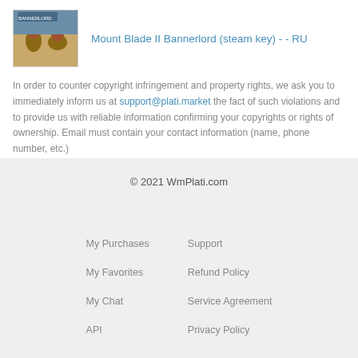[Figure (illustration): Thumbnail image of Mount Blade II Bannerlord game cover art showing mounted knights]
Mount Blade II Bannerlord (steam key) - - RU
In order to counter copyright infringement and property rights, we ask you to immediately inform us at support@plati.market the fact of such violations and to provide us with reliable information confirming your copyrights or rights of ownership. Email must contain your contact information (name, phone number, etc.)
© 2021 WmPlati.com
My Purchases
My Favorites
My Chat
API
Support
Refund Policy
Service Agreement
Privacy Policy